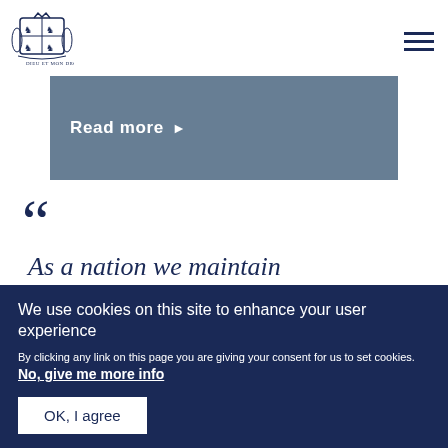[Figure (logo): UK Government royal coat of arms logo in dark navy blue]
Read more ▶
““ As a nation we maintain
We use cookies on this site to enhance your user experience
By clicking any link on this page you are giving your consent for us to set cookies. No, give me more info
OK, I agree